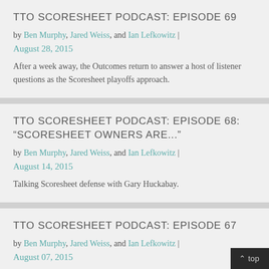TTO SCORESHEET PODCAST: EPISODE 69
by Ben Murphy, Jared Weiss, and Ian Lefkowitz | August 28, 2015
After a week away, the Outcomes return to answer a host of listener questions as the Scoresheet playoffs approach.
TTO SCORESHEET PODCAST: EPISODE 68: “SCOREEHEET OWNERS ARE...”
by Ben Murphy, Jared Weiss, and Ian Lefkowitz | August 14, 2015
Talking Scoresheet defense with Gary Huckabay.
TTO SCORESHEET PODCAST: EPISODE 67
by Ben Murphy, Jared Weiss, and Ian Lefkowitz | August 07, 2015